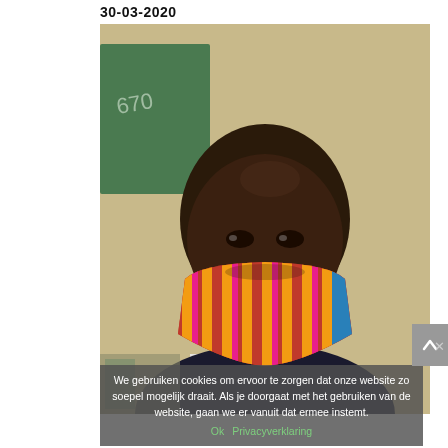30-03-2020
[Figure (photo): A man wearing a colorful striped fabric face mask (red, yellow, pink, blue stripes) in a classroom or office setting. A green chalkboard is visible in the background. The photo appears to be a selfie.]
We gebruiken cookies om ervoor te zorgen dat onze website zo soepel mogelijk draait. Als je doorgaat met het gebruiken van de website, gaan we er vanuit dat ermee instemt.
Ok  Privacyverklaring